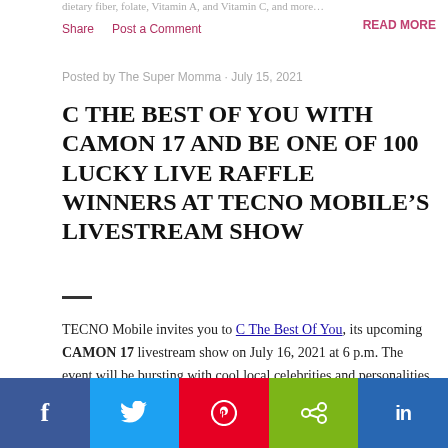dietary fiber, folate, Vitamin A, and Vitamin C, and more…
Share   Post a Comment   READ MORE
Posted by The Super Momma · July 15, 2021
C THE BEST OF YOU WITH CAMON 17 AND BE ONE OF 100 LUCKY LIVE RAFFLE WINNERS AT TECNO MOBILE'S LIVESTREAM SHOW
TECNO Mobile invites you to C The Best Of You, its upcoming CAMON 17 livestream show on July 16, 2021 at 6 p.m. The event will be bursting with cool local celebrities and personalities eager to help you live your best life.
[Figure (infographic): Social share bar with Facebook (blue), Twitter (light blue), Pinterest (red), Share (green), LinkedIn (dark blue) buttons]